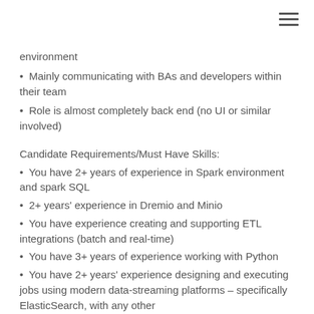environment
Mainly communicating with BAs and developers within their team
Role is almost completely back end (no UI or similar involved)
Candidate Requirements/Must Have Skills:
You have 2+ years of experience in Spark environment and spark SQL
2+ years' experience in Dremio and Minio
You have experience creating and supporting ETL integrations (batch and real-time)
You have 3+ years of experience working with Python
You have 2+ years' experience designing and executing jobs using modern data-streaming platforms – specifically ElasticSearch, with any other